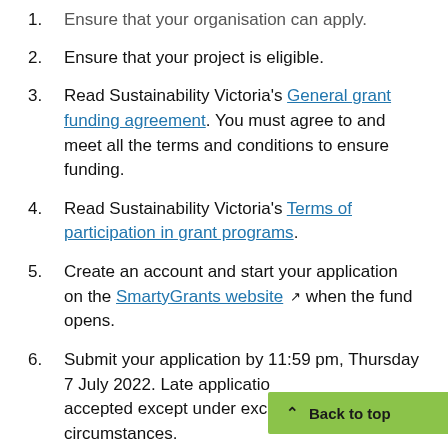1. Ensure that your organisation can apply.
2. Ensure that your project is eligible.
3. Read Sustainability Victoria's General grant funding agreement. You must agree to and meet all the terms and conditions to ensure funding.
4. Read Sustainability Victoria's Terms of participation in grant programs.
5. Create an account and start your application on the SmartyGrants website when the fund opens.
6. Submit your application by 11:59 pm, Thursday 7 July 2022. Late applications will not be accepted except under exceptional circumstances.